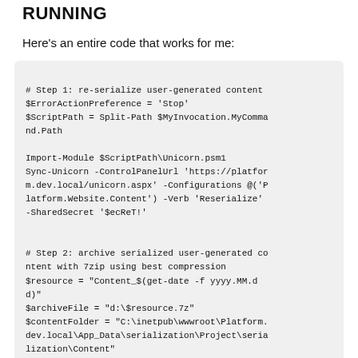RUNNING
Here's an entire code that works for me:
# Step 1: re-serialize user-generated content
$ErrorActionPreference = 'Stop'
$ScriptPath = Split-Path $MyInvocation.MyCommand.Path

Import-Module $ScriptPath\Unicorn.psm1
Sync-Unicorn -ControlPanelUrl 'https://platform.dev.local/unicorn.aspx' -Configurations @('Platform.Website.Content') -Verb 'Reserialize' -SharedSecret '$ecReT!'

# Step 2: archive serialized user-generated content with 7zip using best compression
$resource = "Content_$(get-date -f yyyy.MM.dd)"
$archiveFile = "d:\$resource.7z"
$contentFolder = "C:\inetpub\wwwroot\Platform.dev.local\App_Data\serialization\Project\serialization\Content"